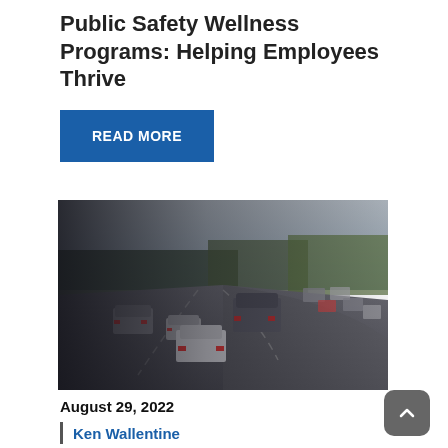Public Safety Wellness Programs: Helping Employees Thrive
READ MORE
[Figure (photo): Photo of cars on a highway, shot from behind, curved road with trees visible in the background, dark overlay on the left side.]
August 29, 2022
Ken Wallentine